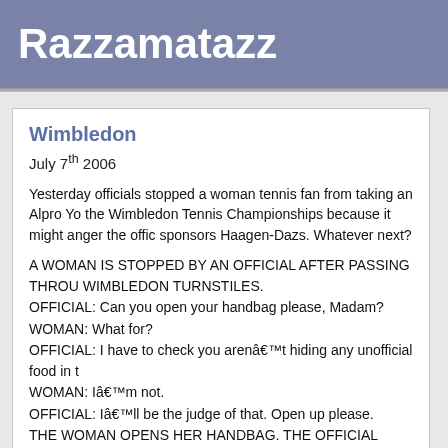Razzamatazz
Wimbledon
July 7th 2006
Yesterday officials stopped a woman tennis fan from taking an Alpro Yo the Wimbledon Tennis Championships because it might anger the offic sponsors Haagen-Dazs. Whatever next?
A WOMAN IS STOPPED BY AN OFFICIAL AFTER PASSING THROU WIMBLEDON TURNSTILES.
OFFICIAL: Can you open your handbag please, Madam?
WOMAN: What for?
OFFICIAL: I have to check you arenâ€™t hiding any unofficial food in t
WOMAN: Iâ€™m not.
OFFICIAL: Iâ€™ll be the judge of that. Open up please.
THE WOMAN OPENS HER HANDBAG. THE OFFICIAL PEERS INSIDE.
OFFICIAL: Hah! No unofficial food eh? Then whatâ€™s that?
WOMAN: A tampon.
OFFICIAL: Just as I thought. Iâ€™m afraid Iâ€™m